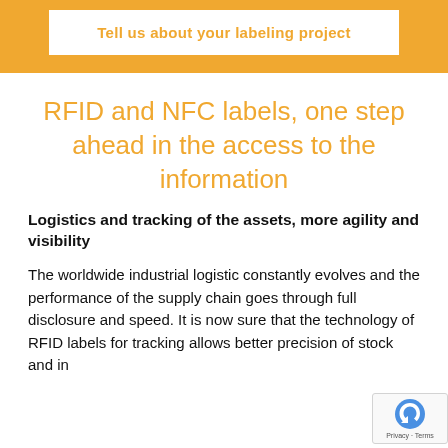Tell us about your labeling project
RFID and NFC labels, one step ahead in the access to the information
Logistics and tracking of the assets, more agility and visibility
The worldwide industrial logistic constantly evolves and the performance of the supply chain goes through full disclosure and speed. It is now sure that the technology of RFID labels for tracking allows better precision of stock and in...